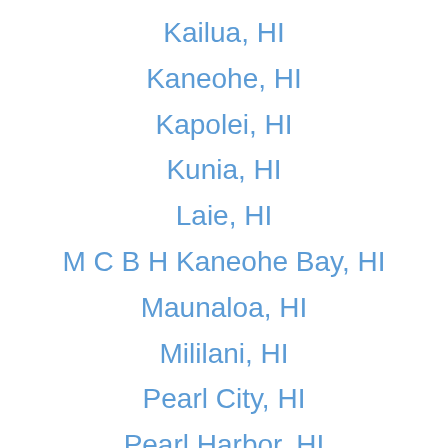Kailua, HI
Kaneohe, HI
Kapolei, HI
Kunia, HI
Laie, HI
M C B H Kaneohe Bay, HI
Maunaloa, HI
Mililani, HI
Pearl City, HI
Pearl Harbor, HI
Schofield Barracks, HI
Tripler Army Medical Ctr, HI
Wahiawa, HI
Waialua, HI